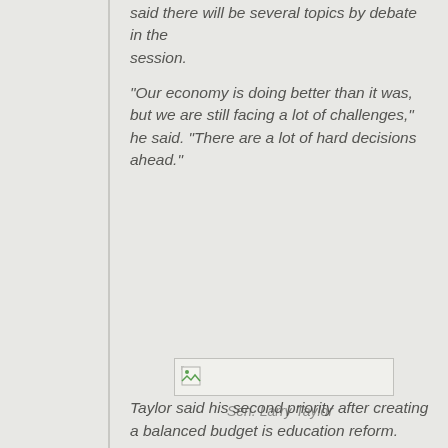said there will be several topics by debate in the session.
“Our economy is doing better than it was, but we are still facing a lot of challenges,” he said. “There are a lot of hard decisions ahead.”
[Figure (photo): Broken/missing image placeholder for Sen. Larry Taylor]
Sen. Larry Taylor
Taylor said his second priority after creating a balanced budget is education reform.